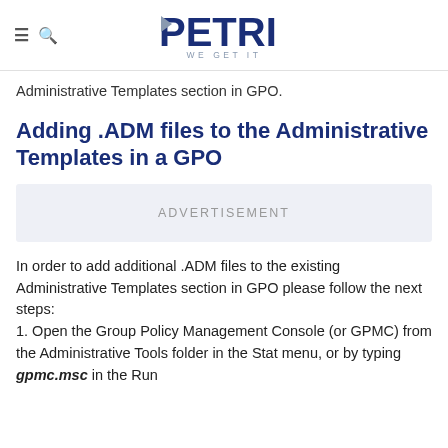PETRI — WE GET IT
Administrative Templates section in GPO.
Adding .ADM files to the Administrative Templates in a GPO
[Figure (other): ADVERTISEMENT placeholder box]
In order to add additional .ADM files to the existing Administrative Templates section in GPO please follow the next steps:
1. Open the Group Policy Management Console (or GPMC) from the Administrative Tools folder in the Stat menu, or by typing gpmc.msc in the Run